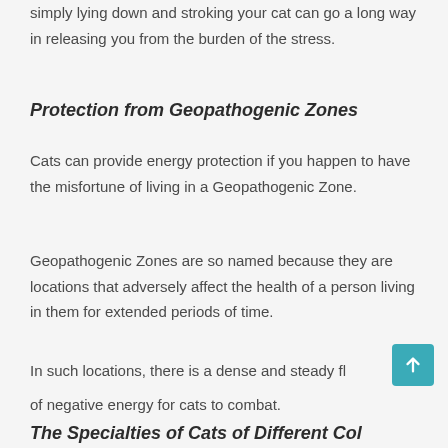simply lying down and stroking your cat can go a long way in releasing you from the burden of the stress.
Protection from Geopathogenic Zones
Cats can provide energy protection if you happen to have the misfortune of living in a Geopathogenic Zone.
Geopathogenic Zones are so named because they are locations that adversely affect the health of a person living in them for extended periods of time.
In such locations, there is a dense and steady fl... of negative energy for cats to combat.
The Specialties of Cats of Different Col...